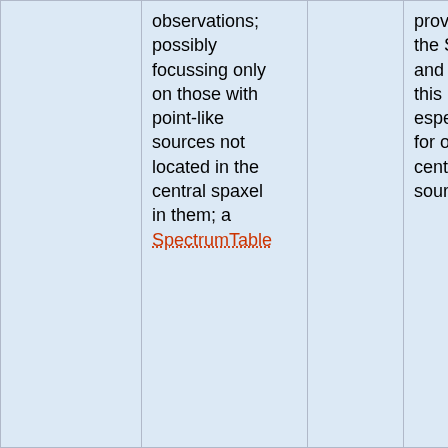|  | observations; possibly focussing only on those with point-like sources not located in the central spaxel in them; a SpectrumTable |  | provided in the SPG, and this is especially so for off-centred point sources |
| Unchopped obsids with continuum removed | Subtract the continuum from all unchopped | Mid | The continuum is very uncertain |